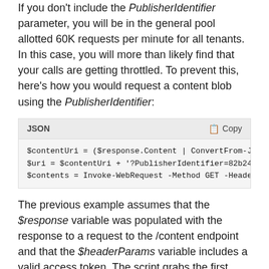If you don't include the PublisherIdentifier parameter, you will be in the general pool allotted 60K requests per minute for all tenants. In this case, you will more than likely find that your calls are getting throttled. To prevent this, here's how you would request a content blob using the PublisherIdentifier:
[Figure (screenshot): Code block with JSON label and Copy button showing three lines of PowerShell/JSON code: $contentUri assignment, $uri assignment with PublisherIdentifier parameter, and $contents assignment with Invoke-WebRequest]
The previous example assumes that the $response variable was populated with the response to a request to the /content endpoint and that the $headerParams variable includes a valid access token. The script grabs the first item in the array of content URIs from the response and then invokes the GET to download that blob and put it in the